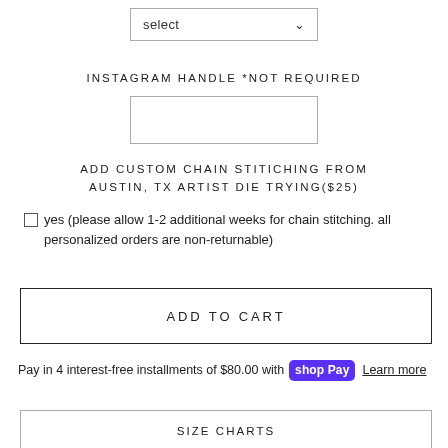select
INSTAGRAM HANDLE *NOT REQUIRED
ADD CUSTOM CHAIN STITICHING FROM AUSTIN, TX ARTIST DIE TRYING($25)
yes (please allow 1-2 additional weeks for chain stitching. all personalized orders are non-returnable)
ADD TO CART
Pay in 4 interest-free installments of $80.00 with shop Pay Learn more
SIZE CHARTS